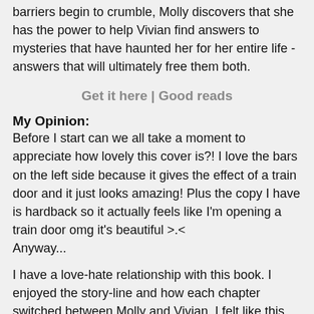barriers begin to crumble, Molly discovers that she has the power to help Vivian find answers to mysteries that have haunted her for her entire life - answers that will ultimately free them both.
Get it here | Good reads
My Opinion:
Before I start can we all take a moment to appreciate how lovely this cover is?! I love the bars on the left side because it gives the effect of a train door and it just looks amazing! Plus the copy I have is hardback so it actually feels like I'm opening a train door omg it's beautiful >.< Anyway...
I have a love-hate relationship with this book. I enjoyed the story-line and how each chapter switched between Molly and Vivian. I felt like this book was a real eye-opener and I feel like I've learned a lot. This book made me realise how lucky I am and how cruel the world can be sometimes... But it does have a lovely ending! There's a lot of history weaved in these pages and I enjoyed that since I like history anyway